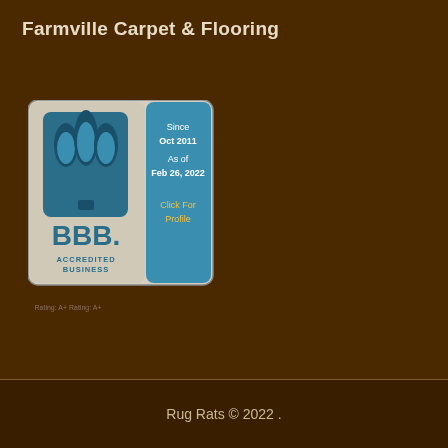Farmville Carpet & Flooring
[Figure (logo): BBB Accredited Business seal showing BBB logo on left with blue shield shape and 'ACCREDITED BUSINESS' text, and right panel showing 'Since Oct 2011 As of Feb 26, 2022 Click For Profile' text in blue]
Rug Rats © 2022 .